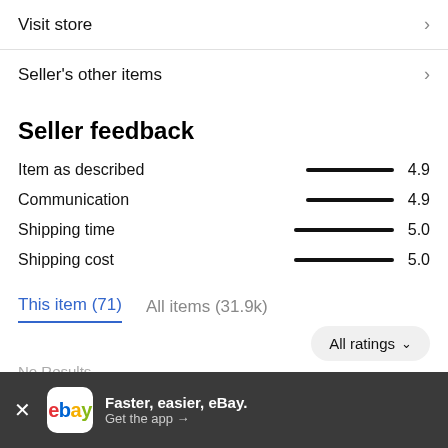Visit store
Seller's other items
Seller feedback
Item as described  4.9
Communication  4.9
Shipping time  5.0
Shipping cost  5.0
This item (71)   All items (31.9k)
All ratings
No Results
Faster, easier, eBay. Get the app →